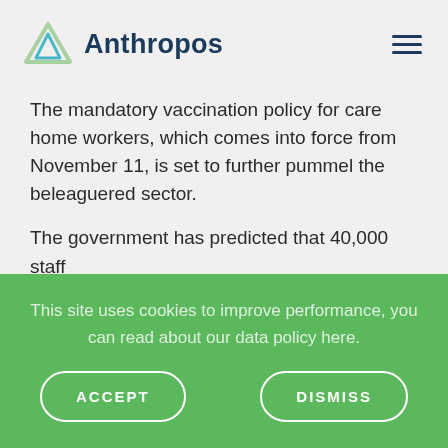Anthropos
The mandatory vaccination policy for care home workers, which comes into force from November 11, is set to further pummel the beleaguered sector.
The government has predicted that 40,000 staff
This site uses cookies to improve performance, you can read about our data policy here.
ACCEPT
DISMISS